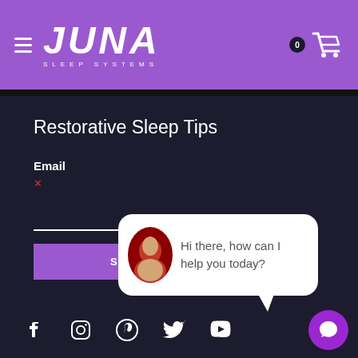JUNA SLEEP SYSTEMS
Restorative Sleep Tips
Email
SUBMIT
[Figure (screenshot): Chat widget popup with avatar and message: Hi there, how can I help you today?]
Social media icons: Facebook, Instagram, Pinterest, Twitter, YouTube
[Figure (illustration): Purple circular chat button with speech bubble icon]